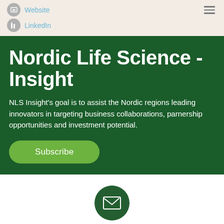Website | LinkedIn
Nordic Life Science - Insight
NLS Insight's goal is to assist the Nordic regions leading innovators in targeting business collaborations, parnership opportunities and investment potential.
Subscribe
info@nlsinsight.com